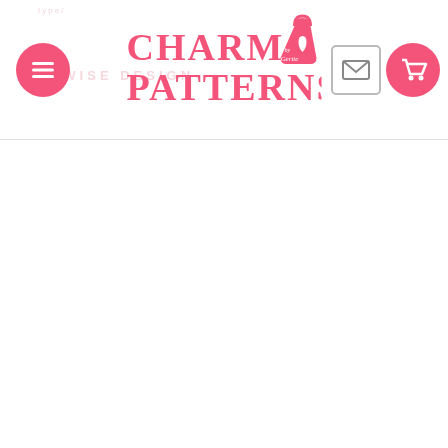Charm Patterns by Gertie — website header with logo, menu button, mail icon, and cart icon
THWISE DESIGN (partial background text visible)